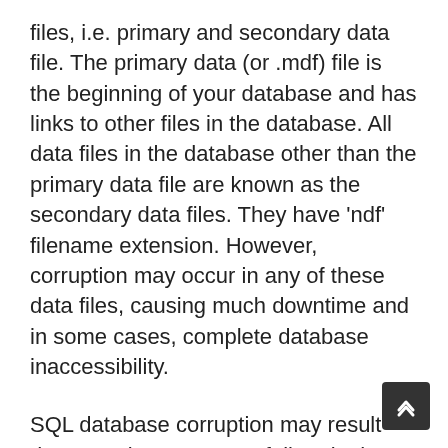files, i.e. primary and secondary data file. The primary data (or .mdf) file is the beginning of your database and has links to other files in the database. All data files in the database other than the primary data file are known as the secondary data files. They have 'ndf' filename extension. However, corruption may occur in any of these data files, causing much downtime and in some cases, complete database inaccessibility.
SQL database corruption may result due to an instant power failure in the middle of a transaction or due to a hardware malfunction in the disk subsystem. Predominantly, hardware malfunction is the major cause of corruption. Other reasons that can incur corruption in the SQL database are database duplication, creating triggers on system tables, renaming the primary file group, etc. This corruption may remain obscure till the time you do